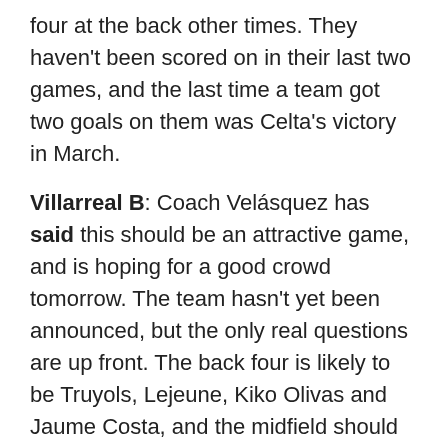four at the back other times. They haven't been scored on in their last two games, and the last time a team got two goals on them was Celta's victory in March.
Villarreal B: Coach Velásquez has said this should be an attractive game, and is hoping for a good crowd tomorrow. The team hasn't yet been announced, but the only real questions are up front. The back four is likely to be Truyols, Lejeune, Kiko Olivas and Jaume Costa, and the midfield should be Trigueros, Llorente, Toribio and Porcar, with Joselu and Gerard Bordas up front, unless Moi Gomez slides into the lineup in place of one of those two.
When the two clubs met in Valladolid (November 19, 2011) the 2-1 final scoreline was flattering to the Mini Submarine, as our tally came via an own goal in the...